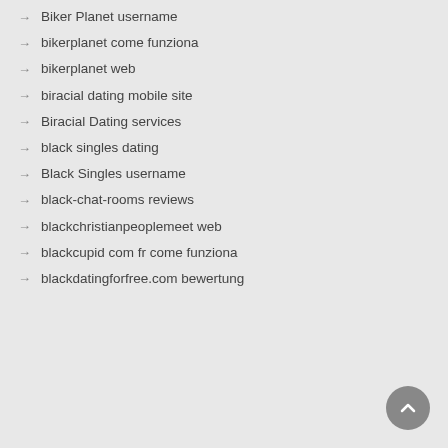Biker Planet username
bikerplanet come funziona
bikerplanet web
biracial dating mobile site
Biracial Dating services
black singles dating
Black Singles username
black-chat-rooms reviews
blackchristianpeoplemeet web
blackcupid com fr come funziona
blackdatingforfree.com bewertung